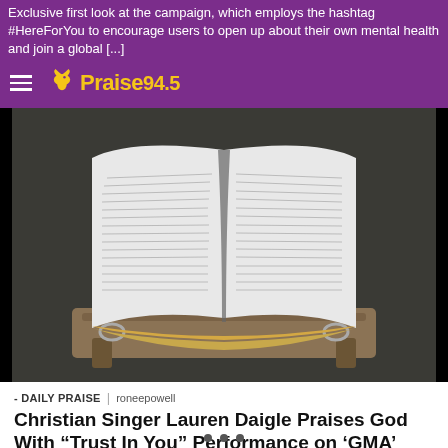Exclusive first look at the campaign, which employs the hashtag #HereForYou to encourage users to open up about their own mental health and join a global [...]
[Figure (logo): Praise 94.5 radio station logo with dove icon in yellow and white text on purple background]
[Figure (photo): Open Bible with gold-edged pages resting on a wooden surface, photographed from above at an angle]
- DAILY PRAISE | roneepowell
Christian Singer Lauren Daigle Praises God With “Trust In You” Performance on ‘GMA’
Contemporary Christian singer Lauren Daigle recently performed her song “Trust in You” on ABC’s Good Morning America. Lauren Daigle is